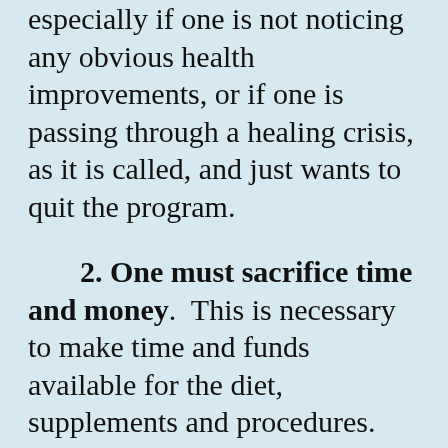especially if one is not noticing any obvious health improvements, or if one is passing through a healing crisis, as it is called, and just wants to quit the program.
2. One must sacrifice time and money.  This is necessary to make time and funds available for the diet, supplements and procedures.
3. One must pass through the suffering that goes with some healing reactions.  This is sort of